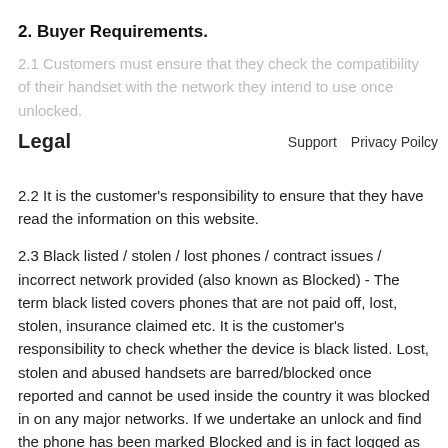2. Buyer Requirements.
2.1 Customers must ensure that they check the compatibility of their handset with the network they intend to use once unlocked.
Legal    Support    Privacy Poilcy
2.2 It is the customer's responsibility to ensure that they have read the information on this website.
2.3 Black listed / stolen / lost phones / contract issues / incorrect network provided (also known as Blocked) - The term black listed covers phones that are not paid off, lost, stolen, insurance claimed etc. It is the customer's responsibility to check whether the device is black listed. Lost, stolen and abused handsets are barred/blocked once reported and cannot be used inside the country it was blocked in on any major networks. If we undertake an unlock and find the phone has been marked Blocked and is in fact logged as either lost, stolen, abused, bad ESN and/or contract issues, we cannot refund your payment.
2.4 Certain networks may be subject to an additional charge and or require the phone to be 6 months old before